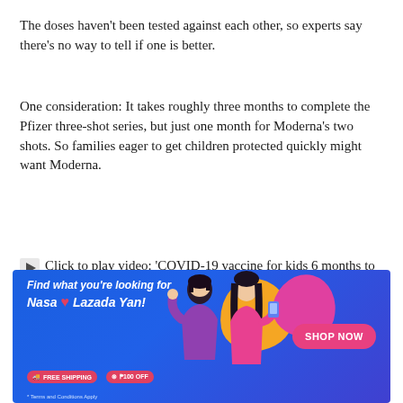The doses haven't been tested against each other, so experts say there's no way to tell if one is better.
One consideration: It takes roughly three months to complete the Pfizer three-shot series, but just one month for Moderna's two shots. So families eager to get children protected quickly might want Moderna.
[Figure (other): Play button icon followed by video caption text: 'Click to play video: 'COVID-19 vaccine for kids 6 months to 5 years could be available by end of summer in B.C.''']
[Figure (infographic): Lazada advertisement banner with blue gradient background, orange and pink hexagon shapes, two women in pink and magenta outfits, text 'Find what you're looking for Nasa [heart] Lazada Yan!', FREE SHIPPING and P100 OFF badges, SHOP NOW button]